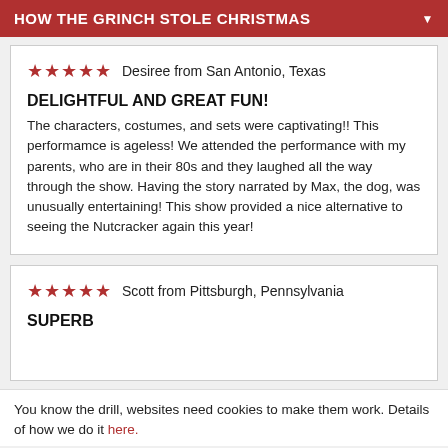HOW THE GRINCH STOLE CHRISTMAS
★★★★★  Desiree from San Antonio, Texas
DELIGHTFUL AND GREAT FUN!
The characters, costumes, and sets were captivating!! This performamce is ageless! We attended the performance with my parents, who are in their 80s and they laughed all the way through the show. Having the story narrated by Max, the dog, was unusually entertaining! This show provided a nice alternative to seeing the Nutcracker again this year!
★★★★★  Scott from Pittsburgh, Pennsylvania
SUPERB
You know the drill, websites need cookies to make them work. Details of how we do it here.
Got it!